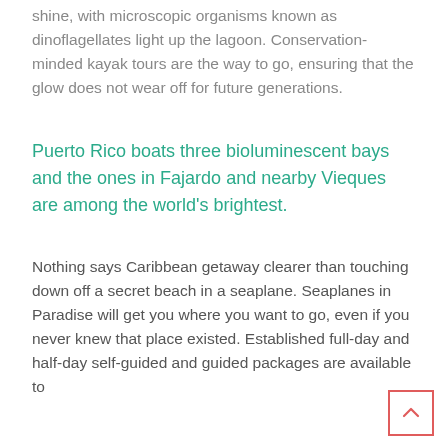shine, with microscopic organisms known as dinoflagellates light up the lagoon. Conservation-minded kayak tours are the way to go, ensuring that the glow does not wear off for future generations.
Puerto Rico boats three bioluminescent bays and the ones in Fajardo and nearby Vieques are among the world's brightest.
Nothing says Caribbean getaway clearer than touching down off a secret beach in a seaplane. Seaplanes in Paradise will get you where you want to go, even if you never knew that place existed. Established full-day and half-day self-guided and guided packages are available to